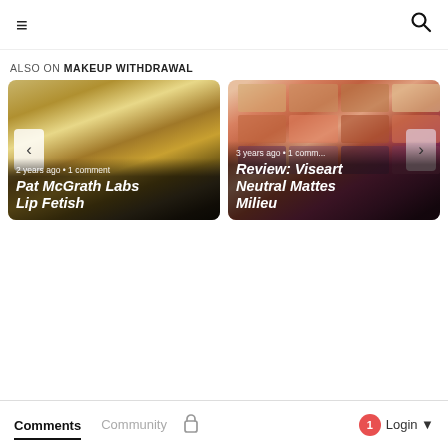≡  [search icon]
ALSO ON MAKEUP WITHDRAWAL
[Figure (photo): Card showing a gold perfume/cosmetic product on a herringbone background with text overlay: '2 years ago • 1 comment' and title 'Pat McGrath Labs Lip Fetish'. Left navigation arrow visible.]
[Figure (photo): Card showing a makeup eyeshadow palette with warm tones (orange, nude, burgundy) with text overlay: '3 years ago • 1 comm...' and title 'Review: Viseart Neutral Mattes Milieu'. Right navigation arrow visible.]
Comments  Community  🔒  1  Login ▾